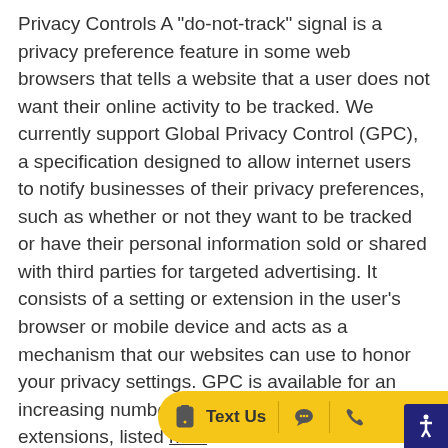Privacy Controls A "do-not-track" signal is a privacy preference feature in some web browsers that tells a website that a user does not want their online activity to be tracked. We currently support Global Privacy Control (GPC), a specification designed to allow internet users to notify businesses of their privacy preferences, such as whether or not they want to be tracked or have their personal information sold or shared with third parties for targeted advertising. It consists of a setting or extension in the user's browser or mobile device and acts as a mechanism that our websites can use to honor your privacy settings. GPC is available for an increasing number of browsers and browser extensions, listed here. (https://globalprivacycontrol.org/#download) If you want to use GPC, you can download and enable it via a participating browser or browser extension. More information about downloading GPC is available here ( https://globalprivacycontrol.org/). If your browser or device has enabled GPC, it will override your p... cookie banner or privacy settings on this Site.